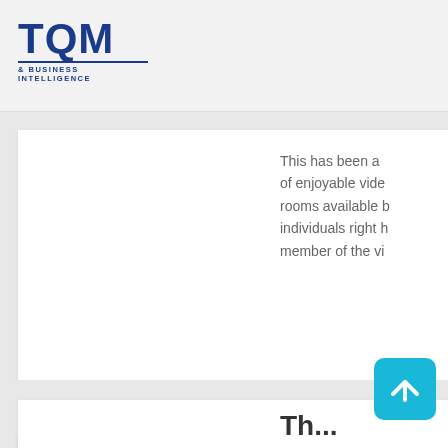TQM & BUSINESS INTELLIGENCE
This has been a of enjoyable vide rooms available b individuals right h member of the vi
5 Best Onl Make Mon
30. augusta 2022
Like I mentioned it's doable, supp and there. The re aren't any good s